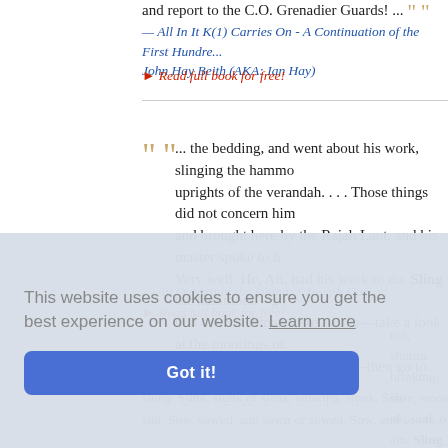and report to the C.O. Grenadier Guards! ...
— All In It K(1) Carries On - A Continuation of the First Hundred Thousand • John Hay Beith (AKA: Ian Hay)
▸ Read full book for free!
... the bedding, and went about his work, slinging the hammock between the uprights of the verandah. . . . Those things did not concern him. He had been brought here by the Rajah Laut, and his master spoke to him. Very well. He, Ali, had his work to do. Sling the hammock—go and see that the watchmen were awake—take a look at the moorings of the boats—the padlock of the big storehouse—then go to sleep. To sleep! He smiled pleasantly. He leaned with both arms over his master's hammo
— An Outcast of the Islands • Joseph Conrad
This website uses cookies to ensure you get the best experience on our website. Learn more
Got it!
nut, shutting, shrinking, shrunk, sunk or sank, sunk or sunken, again. Sling. slunk, slunk or slank, slinking, slunk. Smite, smote, smiting
suit. Sow, sowed, and so on, and so on...